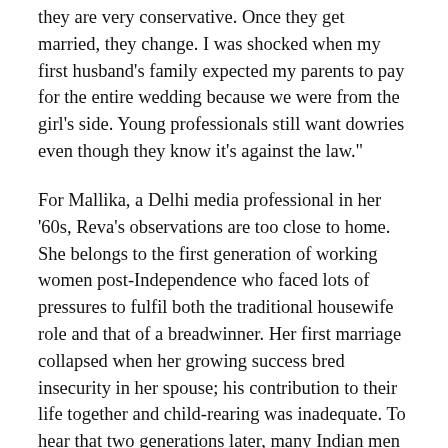they are very conservative. Once they get married, they change. I was shocked when my first husband's family expected my parents to pay for the entire wedding because we were from the girl's side. Young professionals still want dowries even though they know it's against the law."
For Mallika, a Delhi media professional in her '60s, Reva's observations are too close to home. She belongs to the first generation of working women post-Independence who faced lots of pressures to fulfil both the traditional housewife role and that of a breadwinner. Her first marriage collapsed when her growing success bred insecurity in her spouse; his contribution to their life together and child-rearing was inadequate. To hear that two generations later, many Indian men behave like their fathers, even when they have been raised by working women, is a shock. So what do young girls do?
"Many of my girlfriends use dating apps like Tinder which let them pick and swallow and keep in their night hours too"